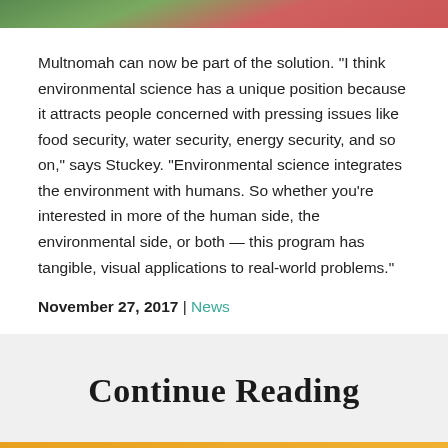[Figure (photo): Top portion of a photo showing a person wearing pink/red clothing outdoors with green background]
Multnomah can now be part of the solution. “I think environmental science has a unique position because it attracts people concerned with pressing issues like food security, water security, energy security, and so on,” says Stuckey. “Environmental science integrates the environment with humans. So whether you’re interested in more of the human side, the environmental side, or both — this program has tangible, visual applications to real-world problems.”
November 27, 2017 | News
Continue Reading